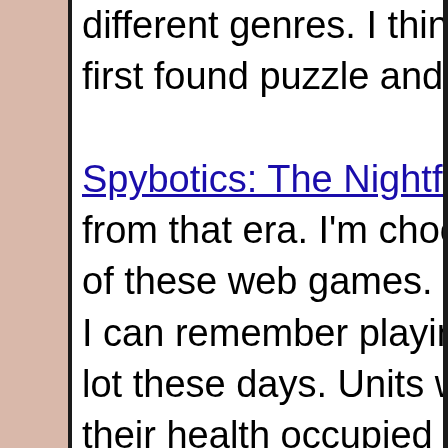different genres. I think this is probably where I first found puzzle and tactics games.

Spybotics: The Nightfall Incident is my favorite from that era. I'm choosing it as a stand-in for all of these web games. This is the first tactics game I can remember playing, which is a genre I like a lot these days. Units were sort of snake-like and their health occupied cells on the battle grid. It led to some pretty interesting body blocking and maneuverability concerns I haven't seen in